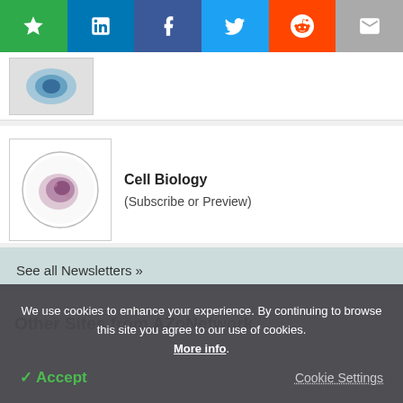[Figure (screenshot): Social share bar with bookmark (green), LinkedIn (blue), Facebook (dark blue), Twitter (light blue), Reddit (orange), and email (grey) buttons]
[Figure (photo): Partial thumbnail of a newsletter image (cell or organism, blue tones)]
Cell Biology
(Subscribe or Preview)
See all Newsletters »
Other Sites from AZoNetwork
We use cookies to enhance your experience. By continuing to browse this site you agree to our use of cookies. More info.
✓ Accept
Cookie Settings